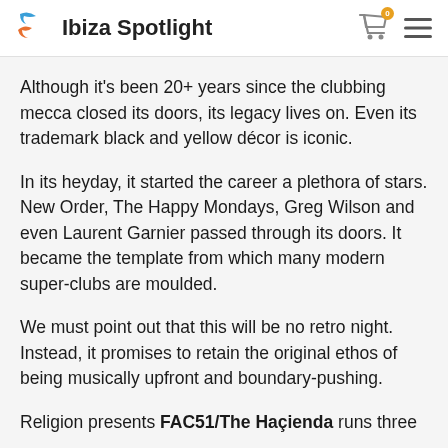Ibiza Spotlight
Although it's been 20+ years since the clubbing mecca closed its doors, its legacy lives on. Even its trademark black and yellow décor is iconic.
In its heyday, it started the career a plethora of stars. New Order, The Happy Mondays, Greg Wilson and even Laurent Garnier passed through its doors. It became the template from which many modern super-clubs are moulded.
We must point out that this will be no retro night. Instead, it promises to retain the original ethos of being musically upfront and boundary-pushing.
Religion presents FAC51/The Haçienda runs three